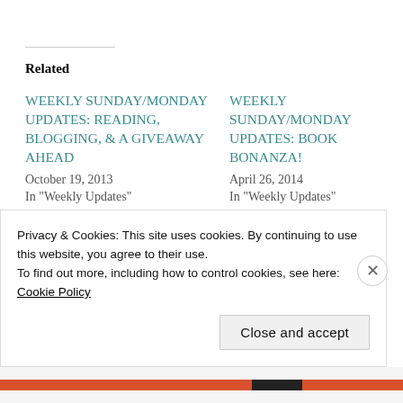Related
WEEKLY SUNDAY/MONDAY UPDATES: READING, BLOGGING, & A GIVEAWAY AHEAD
October 19, 2013
In "Weekly Updates"
WEEKLY SUNDAY/MONDAY UPDATES: BOOK BONANZA!
April 26, 2014
In "Weekly Updates"
WEEKLY SUNDAY/MONDAY UPDATES: READING, A
Privacy & Cookies: This site uses cookies. By continuing to use this website, you agree to their use.
To find out more, including how to control cookies, see here: Cookie Policy
Close and accept